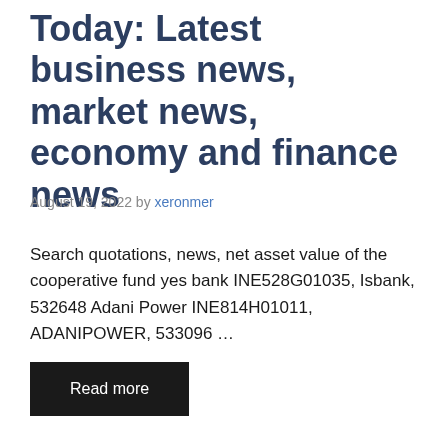Today: Latest business news, market news, economy and finance news
August 19, 2022 by xeronmer
Search quotations, news, net asset value of the cooperative fund yes bank INE528G01035, Isbank, 532648 Adani Power INE814H01011, ADANIPOWER, 533096 ...
Read more